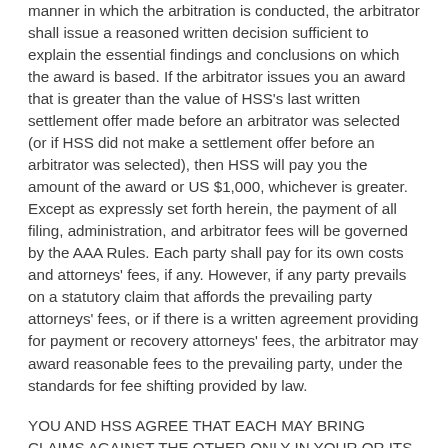manner in which the arbitration is conducted, the arbitrator shall issue a reasoned written decision sufficient to explain the essential findings and conclusions on which the award is based. If the arbitrator issues you an award that is greater than the value of HSS's last written settlement offer made before an arbitrator was selected (or if HSS did not make a settlement offer before an arbitrator was selected), then HSS will pay you the amount of the award or US $1,000, whichever is greater. Except as expressly set forth herein, the payment of all filing, administration, and arbitrator fees will be governed by the AAA Rules. Each party shall pay for its own costs and attorneys' fees, if any. However, if any party prevails on a statutory claim that affords the prevailing party attorneys' fees, or if there is a written agreement providing for payment or recovery attorneys' fees, the arbitrator may award reasonable fees to the prevailing party, under the standards for fee shifting provided by law.
YOU AND HSS AGREE THAT EACH MAY BRING CLAIMS AGAINST THE OTHER ONLY IN YOUR OR ITS INDIVIDUAL CAPACITY, AND NOT AS A PLAINTIFF OR CLASS MEMBER IN ANY PURPORTED CLASS OR REPRESENTATIVE PROCEEDING. Further, unless both you and HSS agree